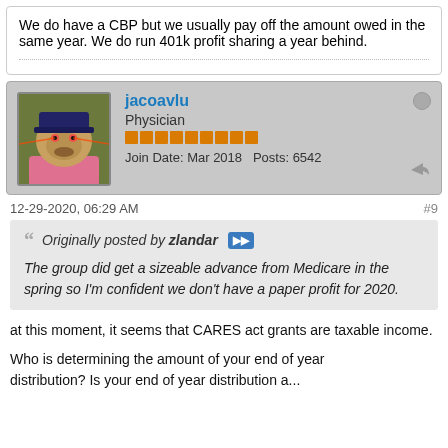We do have a CBP but we usually pay off the amount owed in the same year. We do run 401k profit sharing a year behind.
jacoavlu
Physician
Join Date: Mar 2018  Posts: 6542
12-29-2020, 06:29 AM
#9
Originally posted by zlandar
The group did get a sizeable advance from Medicare in the spring so I'm confident we don't have a paper profit for 2020.
at this moment, it seems that CARES act grants are taxable income.
Who is determining the amount of your end of year distribution? Is your end of year distribution a...